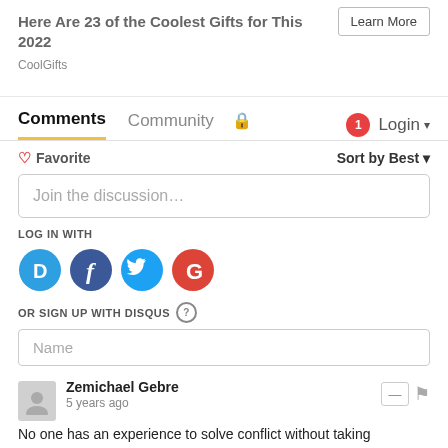Here Are 23 of the Coolest Gifts for This 2022
CoolGifts
Learn More
Comments	Community	🔒	1	Login
♡ Favorite
Sort by Best ▾
Join the discussion…
LOG IN WITH
[Figure (logo): Social login icons: Disqus (D), Facebook (f), Twitter (bird), Google (G)]
OR SIGN UP WITH DISQUS ?
Name
Zemichael Gebre
5 years ago
No one has an experience to solve conflict without taking